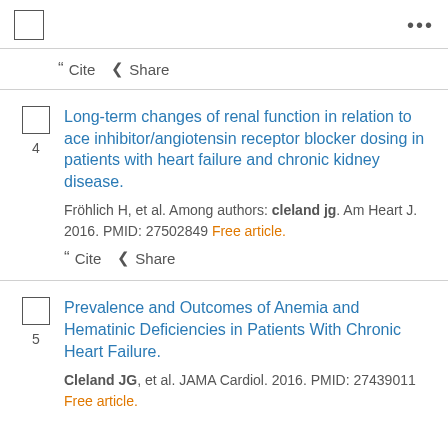[Figure (screenshot): Checkbox and three-dot menu top bar]
Cite  Share
Long-term changes of renal function in relation to ace inhibitor/angiotensin receptor blocker dosing in patients with heart failure and chronic kidney disease.
Fröhlich H, et al. Among authors: cleland jg. Am Heart J. 2016. PMID: 27502849 Free article.
Cite  Share
Prevalence and Outcomes of Anemia and Hematinic Deficiencies in Patients With Chronic Heart Failure.
Cleland JG, et al. JAMA Cardiol. 2016. PMID: 27439011 Free article.